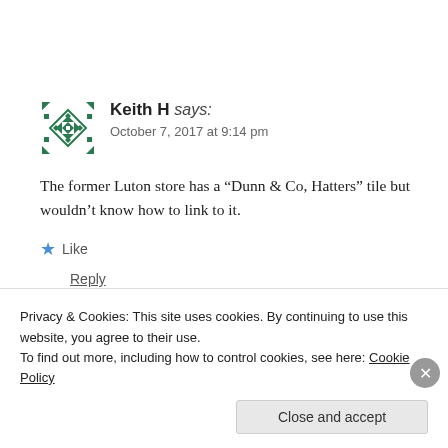[Figure (illustration): Green geometric quilt-pattern avatar icon for user Keith H]
Keith H says:
October 7, 2017 at 9:14 pm
The former Luton store has a “Dunn & Co, Hatters” tile but wouldn’t know how to link to it.
★ Like
Reply
Privacy & Cookies: This site uses cookies. By continuing to use this website, you agree to their use.
To find out more, including how to control cookies, see here: Cookie Policy
Close and accept